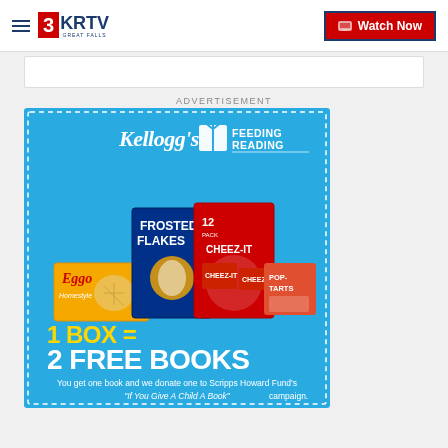3KRTV Great Falls | Watch Now
ADVERTISEMENT
[Figure (photo): Kellogg's Feeding Reading advertisement. Shows Kellogg's products (Frosted Flakes, Cheez-It, Eggo, Pop-Tarts) with text '1 BOX = 2 FREE BOOKS'. Tagline: 'You get one book and we donate one to Scripps Howard Fund\'s "If You Give A Child A Book" campaign.']